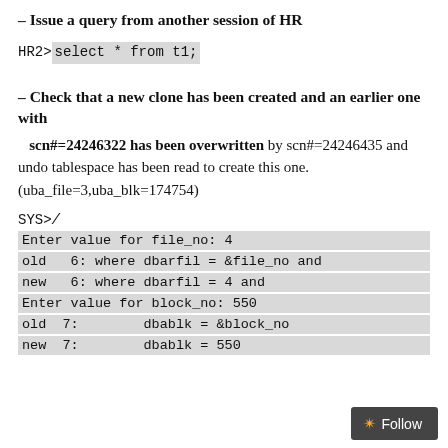– Issue a query from another session of HR
HR2>select * from t1;
– Check that a new clone has been created and an earlier one with
scn#=24246322 has been overwritten by scn#=24246435 and undo tablespace has been read to create this one. (uba_file=3,uba_blk=174754)
SYS>/
Enter value for file_no: 4
old   6: where dbarfil = &file_no and
new   6: where dbarfil = 4 and
Enter value for block_no: 550
old  7:        dbablk = &block_no
new  7:        dbablk = 550